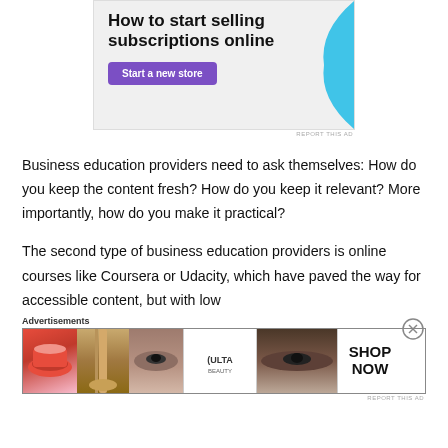[Figure (other): Top advertisement banner for selling subscriptions online with a purple 'Start a new store' button and cyan decorative shape]
REPORT THIS AD
Business education providers need to ask themselves: How do you keep the content fresh? How do you keep it relevant? More importantly, how do you make it practical?
The second type of business education providers is online courses like Coursera or Udacity, which have paved the way for accessible content, but with low
Advertisements
[Figure (other): Bottom Ulta Beauty advertisement banner showing makeup products, eyes, and 'SHOP NOW' call to action]
REPORT THIS AD